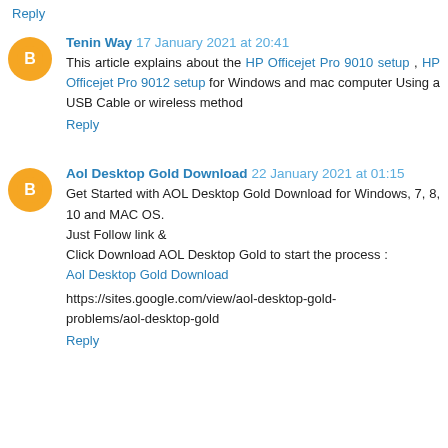Reply
Tenin Way 17 January 2021 at 20:41
This article explains about the HP Officejet Pro 9010 setup , HP Officejet Pro 9012 setup for Windows and mac computer Using a USB Cable or wireless method
Reply
Aol Desktop Gold Download 22 January 2021 at 01:15
Get Started with AOL Desktop Gold Download for Windows, 7, 8, 10 and MAC OS.
Just Follow link &
Click Download AOL Desktop Gold to start the process :
Aol Desktop Gold Download

https://sites.google.com/view/aol-desktop-gold-problems/aol-desktop-gold
Reply